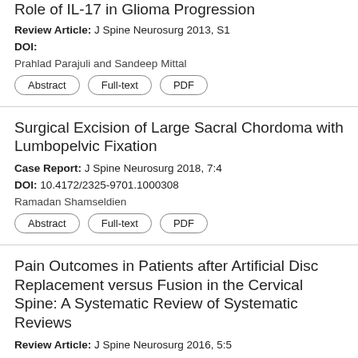Role of IL-17 in Glioma Progression
Review Article: J Spine Neurosurg 2013, S1
DOI:
Prahlad Parajuli and Sandeep Mittal
Abstract | Full-text | PDF
Surgical Excision of Large Sacral Chordoma with Lumbopelvic Fixation
Case Report: J Spine Neurosurg 2018, 7:4
DOI: 10.4172/2325-9701.1000308
Ramadan Shamseldien
Abstract | Full-text | PDF
Pain Outcomes in Patients after Artificial Disc Replacement versus Fusion in the Cervical Spine: A Systematic Review of Systematic Reviews
Review Article: J Spine Neurosurg 2016, 5:5
DOI:
Tashani OA, EL-Tumi HG and Aneiba K
Abstract | Full-text | PDF